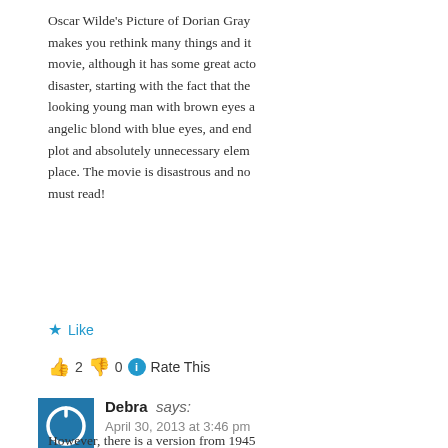Oscar Wilde's Picture of Dorian Gray makes you rethink many things and it movie, although it has some great acto disaster, starting with the fact that the looking young man with brown eyes a angelic blond with blue eyes, and end plot and absolutely unnecessary elem place. The movie is disastrous and no must read!
★ Like
👍 2 👎 0 ℹ Rate This
[Figure (other): User avatar icon — blue square with white power/circle symbol]
Debra says: April 30, 2013 at 3:46 pm
However, there is a version from 194